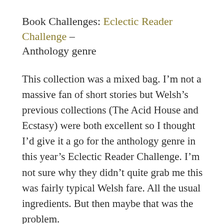Book Challenges: Eclectic Reader Challenge – Anthology genre
This collection was a mixed bag. I’m not a massive fan of short stories but Welsh’s previous collections (The Acid House and Ecstasy) were both excellent so I thought I’d give it a go for the anthology genre in this year’s Eclectic Reader Challenge. I’m not sure why they didn’t quite grab me this was fairly typical Welsh fare. All the usual ingredients. But then maybe that was the problem.
Rattlesnakes started well. You know you’re in a Welsh story when someone gets bitten on the penis by a rattlesnake and the only way to avoid death is for his